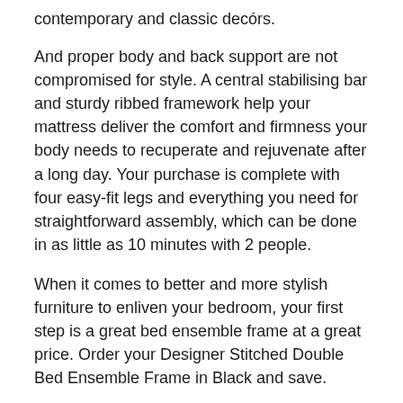contemporary and classic decórs.
And proper body and back support are not compromised for style. A central stabilising bar and sturdy ribbed framework help your mattress deliver the comfort and firmness your body needs to recuperate and rejuvenate after a long day. Your purchase is complete with four easy-fit legs and everything you need for straightforward assembly, which can be done in as little as 10 minutes with 2 people.
When it comes to better and more stylish furniture to enliven your bedroom, your first step is a great bed ensemble frame at a great price. Order your Designer Stitched Double Bed Ensemble Frame in Black and save.
Features of the Designer Stitched Double Bed Ensemble Frame — Black:
Designed for Double mattress (137 x 187cm)